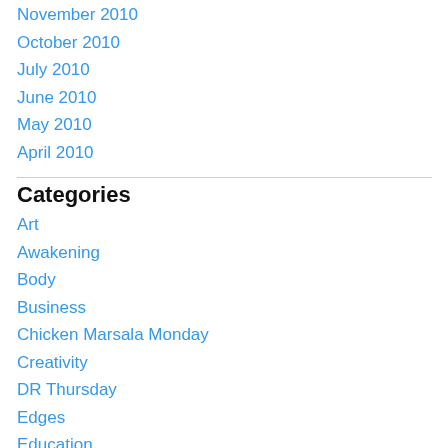November 2010
October 2010
July 2010
June 2010
May 2010
April 2010
Categories
Art
Awakening
Body
Business
Chicken Marsala Monday
Creativity
DR Thursday
Edges
Education
Emergence